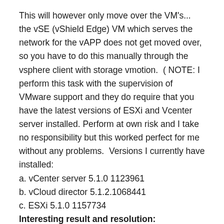This will however only move over the VM's... the vSE (vShield Edge) VM which serves the network for the vAPP does not get moved over, so you have to do this manually through the vsphere client with storage vmotion.  ( NOTE: I perform this task with the supervision of VMware support and they do require that you have the latest versions of ESXi and Vcenter server installed. Perform at own risk and I take no responsibility but this worked perfect for me without any problems.  Versions I currently have installed:
a. vCenter server 5.1.0 1123961
b. vCloud director 5.1.2.1068441
c. ESXi 5.1.0 1157734
Interesting result and resolution:
After I moved all my vAPPS, vAPP templates I reviewed the old datastores with Lctree application tool and it